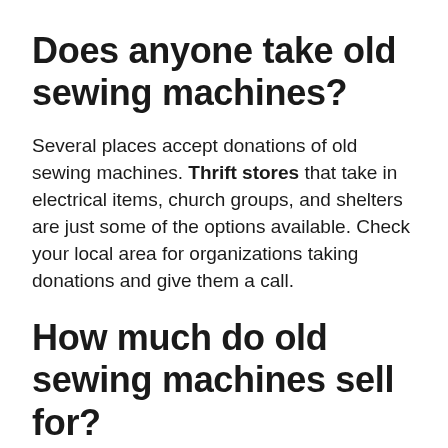Does anyone take old sewing machines?
Several places accept donations of old sewing machines. Thrift stores that take in electrical items, church groups, and shelters are just some of the options available. Check your local area for organizations taking donations and give them a call.
How much do old sewing machines sell for?
Are Old Sewing Machines Valuable? Some collectible old sewing machines sell for a lot of money, but most antique and vintage